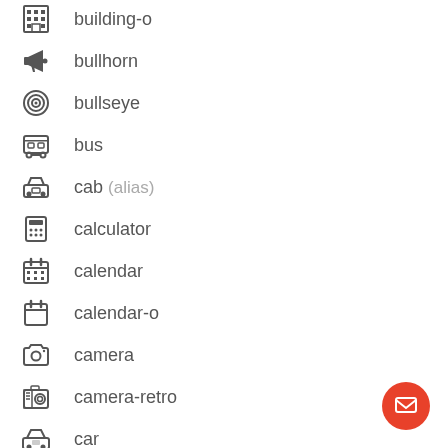building-o
bullhorn
bullseye
bus
cab (alias)
calculator
calendar
calendar-o
camera
camera-retro
car
caret-square-o-down
caret-square-o-left
caret-square-o-right